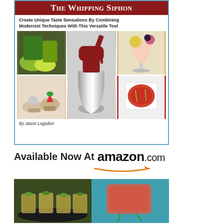[Figure (photo): Book cover for 'The Whipping Siphon' by Jason Logsdon showing a whipping siphon device surrounded by food photos, with subtitle 'Create Unique Taste Sensations By Combining Modernist Techniques With This Versatile Tool']
Available Now At  amazon.com
[Figure (photo): Two food photos side by side: left shows small shot glasses with golden soup/broth garnished with herbs on a dark plate; right shows a rectangular pink/red gelatin or gel block on a teal background]